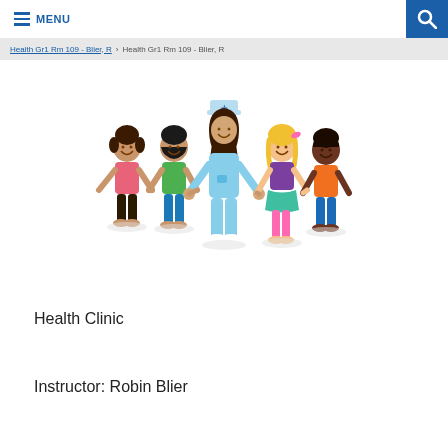MENU
Health Gr1 Rm 109 - Blier, R > Health Gr1 Rm 109 - Blier, R
[Figure (illustration): Cartoon illustration of a nurse in light blue scrubs and hat holding hands with four children of diverse backgrounds and ethnicities]
Health Clinic
Instructor: Robin Blier